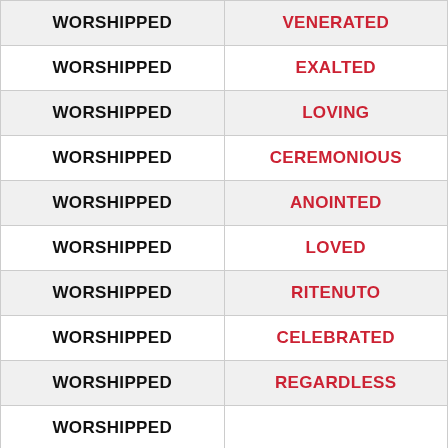| WORSHIPPED | SYNONYM |
| --- | --- |
| WORSHIPPED | VENERATED |
| WORSHIPPED | EXALTED |
| WORSHIPPED | LOVING |
| WORSHIPPED | CEREMONIOUS |
| WORSHIPPED | ANOINTED |
| WORSHIPPED | LOVED |
| WORSHIPPED | RITENUTO |
| WORSHIPPED | CELEBRATED |
| WORSHIPPED | REGARDLESS |
| WORSHIPPED | ... |